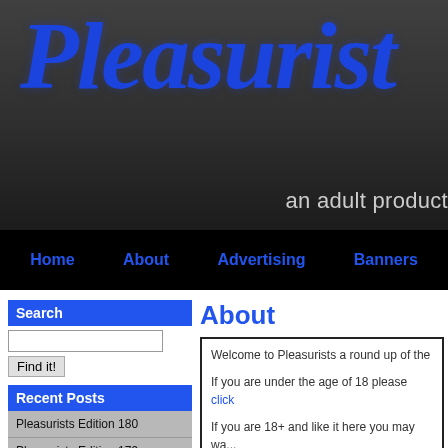Pleasurist - an adult product
Home | About | Advertising | Banners
Search
Recent Posts
Pleasurists Edition 180
Pleasurists Edition 179
Pleasurists Edition 178
About
Welcome to Pleasurists a round up of the
If you are under the age of 18 please click
If you are 18+ and like it here you may wa... Pleasurists on Twitter.